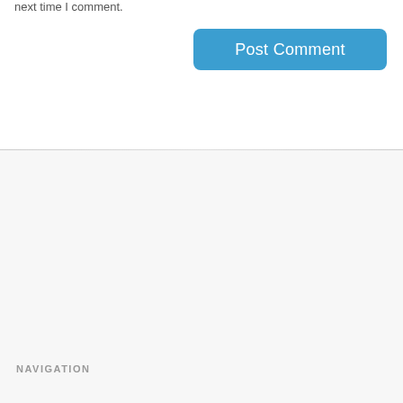next time I comment.
[Figure (other): Post Comment button - blue rounded rectangle button with white text]
NAVIGATION
Home
Categories
Shop